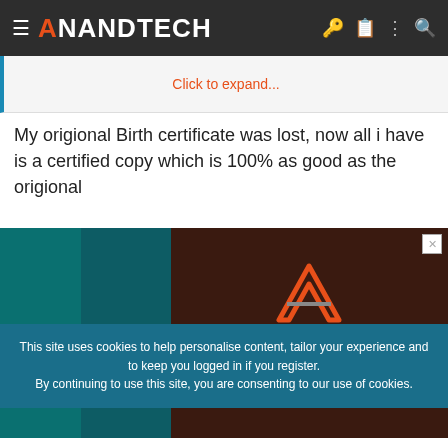AnandTech
Click to expand...
My origional Birth certificate was lost, now all i have is a certified copy which is 100% as good as the origional
[Figure (advertisement): Ampere advertisement banner with logo and text 'Hear Why Major Cloud Providers']
This site uses cookies to help personalise content, tailor your experience and to keep you logged in if you register. By continuing to use this site, you are consenting to our use of cookies.